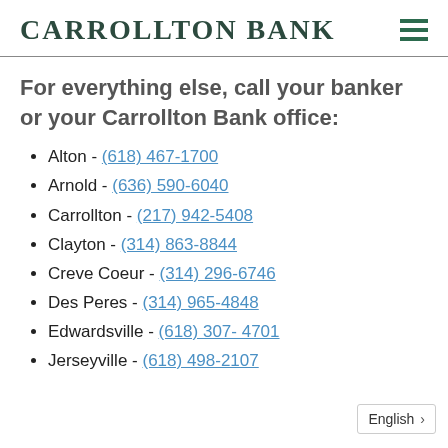Carrollton Bank
For everything else, call your banker or your Carrollton Bank office:
Alton - (618) 467-1700
Arnold - (636) 590-6040
Carrollton - (217) 942-5408
Clayton - (314) 863-8844
Creve Coeur - (314) 296-6746
Des Peres - (314) 965-4848
Edwardsville - (618) 307- 4701
Jerseyville - (618) 498-2107